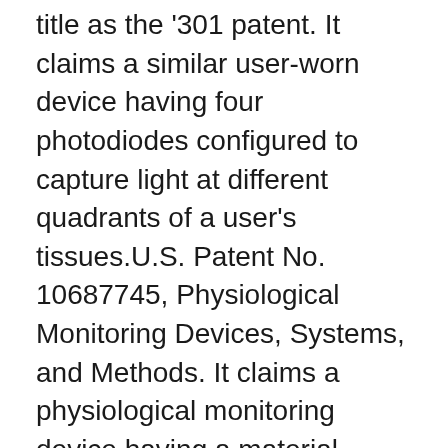title as the '301 patent. It claims a similar user-worn device having four photodiodes configured to capture light at different quadrants of a user's tissues.U.S. Patent No. 10687745, Physiological Monitoring Devices, Systems, and Methods. It claims a physiological monitoring device having a material positioned between a plurality of LEDs and the wrist tissues of a user that changes the shape of light emitted by the LEDs, and a surface with dark-colored coating positioned between the wrist and the photodiodes which ensures that light does not reach the photodiodes without first reaching the user's tissues.U.S. Patent No. 7761127, Multiple Wavelength Sensor Substrate. It claims a physiological sensor with a plurality of emitters transmitting